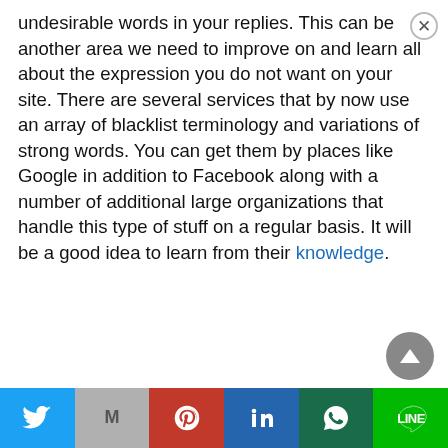undesirable words in your replies. This can be another area we need to improve on and learn all about the expression you do not want on your site. There are several services that by now use an array of blacklist terminology and variations of strong words. You can get them by places like Google in addition to Facebook along with a number of additional large organizations that handle this type of stuff on a regular basis. It will be a good idea to learn from their knowledge.
[Figure (other): Social media share bar with Twitter, Gmail, Pinterest, LinkedIn, WhatsApp, and LINE buttons]